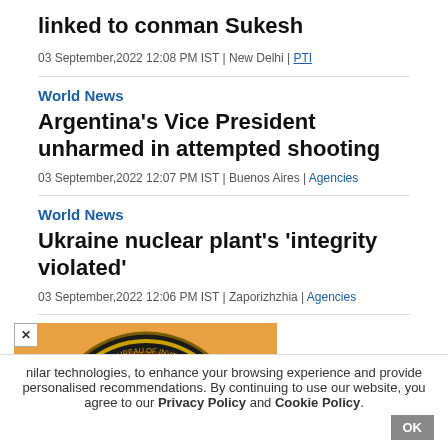linked to conman Sukesh
03 September,2022 12:08 PM IST | New Delhi | PTI
World News
Argentina's Vice President unharmed in attempted shooting
03 September,2022 12:07 PM IST | Buenos Aires | Agencies
World News
Ukraine nuclear plant's 'integrity violated'
03 September,2022 12:06 PM IST | Zaporizhzhia | Agencies
[Figure (photo): CBI logo/seal on orange background — Central Bureau of Investigation India emblem]
ice', as Lufthansa cancels
nilar technologies, to enhance your browsing experience and provide personalised recommendations. By continuing to use our website, you agree to our Privacy Policy and Cookie Policy.